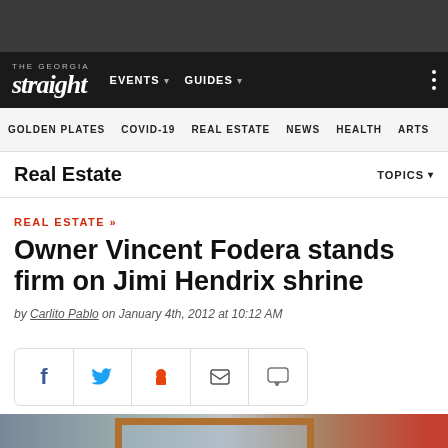The Georgia Straight — Navigation: EVENTS, GUIDES
GOLDEN PLATES | COVID-19 | REAL ESTATE | NEWS | HEALTH | ARTS
Real Estate    TOPICS
REAL ESTATE »
Owner Vincent Fodera stands firm on Jimi Hendrix shrine
by Carlito Pablo on January 4th, 2012 at 10:12 AM
[Figure (other): Social sharing buttons: Facebook, Twitter, Reddit, Email, Comment]
[Figure (photo): Partial photo of a building exterior showing a window with wooden frame, brick wall on right, and a blue flag or banner on left]